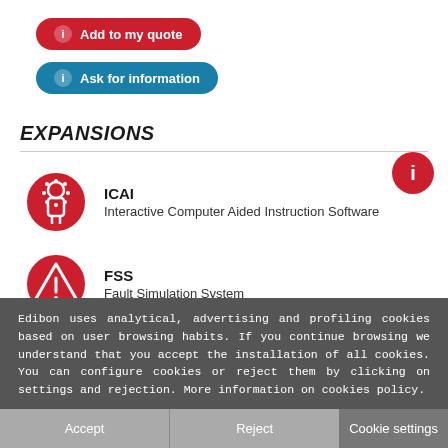[Figure (screenshot): Red rounded button with info icon: 'Add to my quote']
[Figure (screenshot): Teal/blue rounded button with info icon: 'Ask for information']
EXPANSIONS
[Figure (infographic): Red circle with ICAI robot icon]
ICAI
Interactive Computer Aided Instruction Software
[Figure (infographic): Red circle with warning/triangle icon for FSS]
FSS
Fault Simulation System
[Figure (infographic): Red circle with PLC icon (partially visible)]
Edibon uses analytical, advertising and profiling cookies based on user browsing habits. If you continue browsing we understand that you accept the installation of all cookies. You can configure cookies or reject them by clicking on settings and rejection. More information on cookies policy.
Accept
Reject
Cookie settings